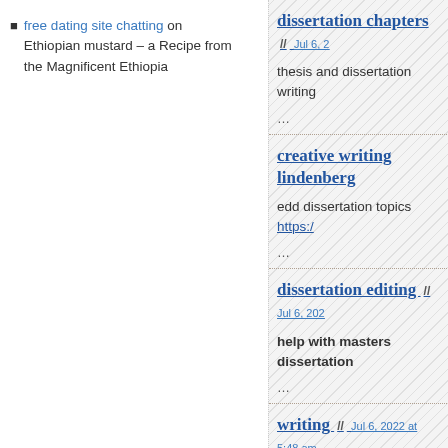free dating site chatting on Ethiopian mustard – a Recipe from the Magnificent Ethiopia
dissertation chapters // Jul 6, 2...
thesis and dissertation writing...
...
creative writing lindenberg...
edd dissertation topics https:/...
...
dissertation editing // Jul 6, 2022...
help with masters dissertation...
...
writing // Jul 6, 2022 at 5:48 am
writing a dissertation in a day...